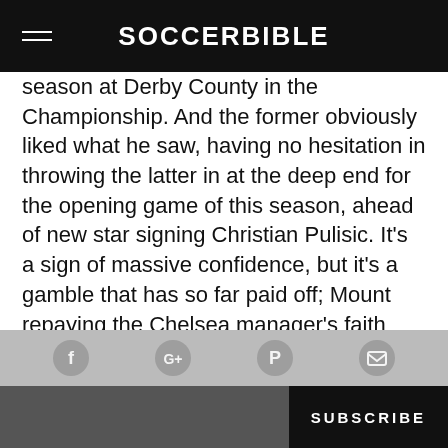SOCCERBIBLE
season at Derby County in the Championship. And the former obviously liked what he saw, having no hesitation in throwing the latter in at the deep end for the opening game of this season, ahead of new star signing Christian Pulisic. It's a sign of massive confidence, but it's a gamble that has so far paid off; Mount repaying the Chelsea manager's faith with two goals in the Blues' opening four matches.
This site uses cookies. By continuing to browse the site, you are agreeing to our use of cookies. Review our Privacy Policy for more details.
nt's attacking style has inevitably draw... compa... his idol and the man he now calls